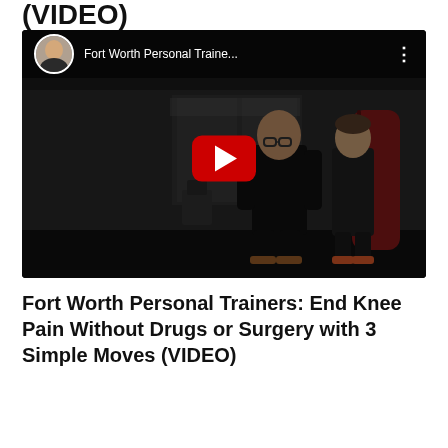(VIDEO)
[Figure (screenshot): YouTube video embed showing two people standing in a gym. The video has a dark overlay with a red play button in the center. The YouTube top bar shows a circular avatar photo of a man and the channel name 'Fort Worth Personal Traine...' with a three-dot menu icon.]
Fort Worth Personal Trainers: End Knee Pain Without Drugs or Surgery with 3 Simple Moves (VIDEO)